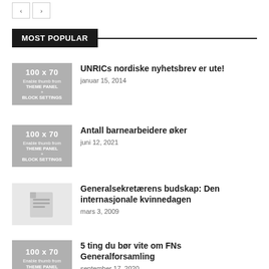< >
MOST POPULAR
UNRICs nordiske nyhetsbrev er ute! — januar 15, 2014
Antall barnearbeidere øker — juni 12, 2021
Generalsekretærens budskap: Den internasjonale kvinnedagen — mars 3, 2009
5 ting du bør vite om FNs Generalforsamling — september 17, 2020